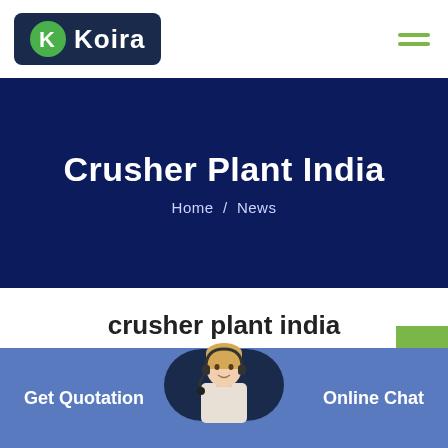[Figure (logo): Koira company logo with green K icon on dark navy background, white text 'Koira']
Crusher Plant India
Home / News
crusher plant india
Sun Mild Steel Crusher Plant Hold Back SMSP
Get Quotation
[Figure (photo): Customer service agent woman wearing headset, shown from waist up on dark navy pill-shaped background]
Online Chat